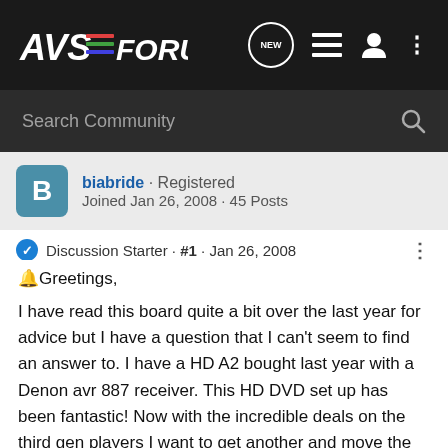AVS FORUM
Search Community
biabride · Registered
Joined Jan 26, 2008 · 45 Posts
Discussion Starter · #1 · Jan 26, 2008
🔔Greetings,

I have read this board quite a bit over the last year for advice but I have a question that I can't seem to find an answer to. I have a HD A2 bought last year with a Denon avr 887 receiver. This HD DVD set up has been fantastic! Now with the incredible deals on the third gen players I want to get another and move the A2 upstairs. The 887 has HDMI which I have been using for video and sound. It also has 5.1 analog inputs which I have a Denon 1930ci plugged into for CD and SACD's.This Xmas I was given a PS3 for gaming. When I watched Pirates of the